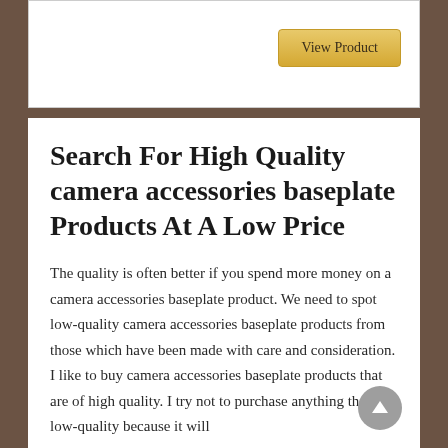[Figure (other): White card area with a 'View Product' button in gold/yellow color on the right side]
Search For High Quality camera accessories baseplate Products At A Low Price
The quality is often better if you spend more money on a camera accessories baseplate product. We need to spot low-quality camera accessories baseplate products from those which have been made with care and consideration. I like to buy camera accessories baseplate products that are of high quality. I try not to purchase anything that is low-quality because it will